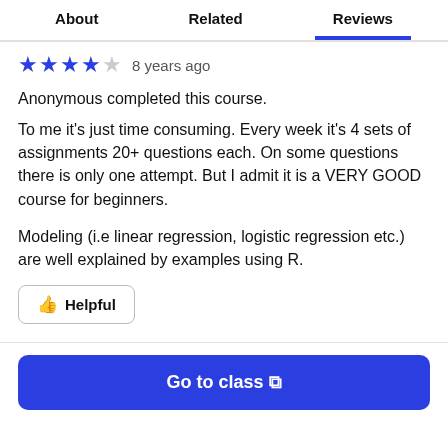About | Related | Reviews
★★★★☆ 8 years ago
Anonymous completed this course.
To me it's just time consuming. Every week it's 4 sets of assignments 20+ questions each. On some questions there is only one attempt. But I admit it is a VERY GOOD course for beginners.
Modeling (i.e linear regression, logistic regression etc.) are well explained by examples using R.
👍 Helpful
Go to class ↗